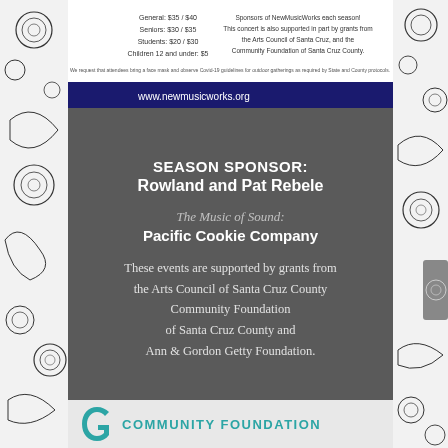[Figure (infographic): Top portion of a New Music Works event flyer showing ticket prices, sponsor info, website www.newmusicworks.org, and a dark blue bar at bottom of image]
SEASON SPONSOR:
Rowland and Pat Rebele
The Music of Sound:
Pacific Cookie Company
These events are supported by grants from the Arts Council of Santa Cruz County Community Foundation of Santa Cruz County and Ann & Gordon Getty Foundation.
[Figure (logo): Community Foundation logo with teal G symbol and text COMMUNITY FOUNDATION]